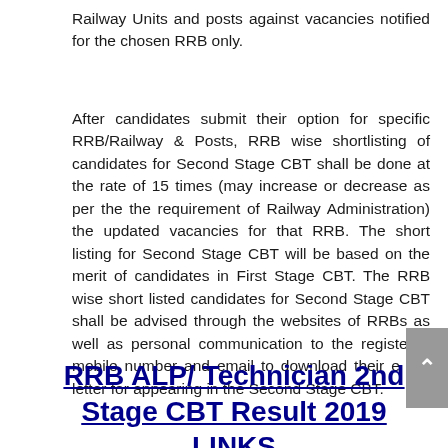Railway Units and posts against vacancies notified for the chosen RRB only.
After candidates submit their option for specific RRB/Railway & Posts, RRB wise shortlisting of candidates for Second Stage CBT shall be done at the rate of 15 times (may increase or decrease as per the the requirement of Railway Administration) the updated vacancies for that RRB. The short listing for Second Stage CBT will be based on the merit of candidates in First Stage CBT. The RRB wise short listed candidates for Second Stage CBT shall be advised through the websites of RRBs as well as personal communication to the registered mobile number and email to download their e call letter for appearing in the Second Stage CBT.
RRB ALP/ Technician 2nd Stage CBT Result 2019 LINKS